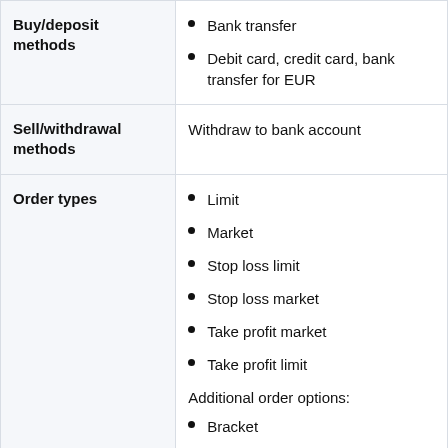|  |  |
| --- | --- |
| Buy/deposit methods | Bank transfer
Debit card, credit card, bank transfer for EUR |
| Sell/withdrawal methods | Withdraw to bank account |
| Order types | Limit
Market
Stop loss limit
Stop loss market
Take profit market
Take profit limit
Additional order options:
Bracket
Trigger entry
Maker only |